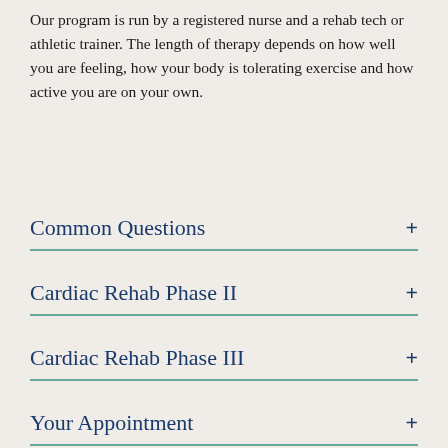Our program is run by a registered nurse and a rehab tech or athletic trainer. The length of therapy depends on how well you are feeling, how your body is tolerating exercise and how active you are on your own.
Common Questions
Cardiac Rehab Phase II
Cardiac Rehab Phase III
Your Appointment